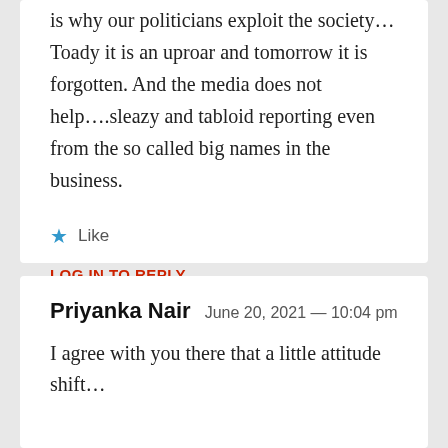is why our politicians exploit the society… Toady it is an uproar and tomorrow it is forgotten. And the media does not help….sleazy and tabloid reporting even from the so called big names in the business.
Like
LOG IN TO REPLY
Priyanka Nair  June 20, 2021 — 10:04 pm
I agree with you there that a little attitude shift…